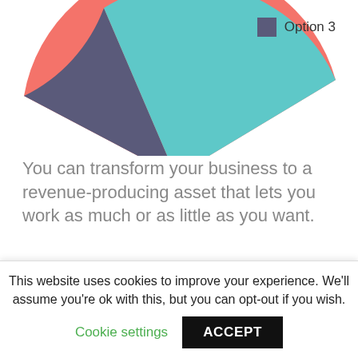[Figure (pie-chart): Partially visible pie chart showing slices in dark gray/purple, teal/cyan, and salmon/coral red colors, with a legend entry for Option 3 (dark purple square).]
You can transform your business to a revenue-producing asset that lets you work as much or as little as you want.
Project scheduling and management
Simple's strategic marketing methodology has
This website uses cookies to improve your experience. We'll assume you're ok with this, but you can opt-out if you wish.